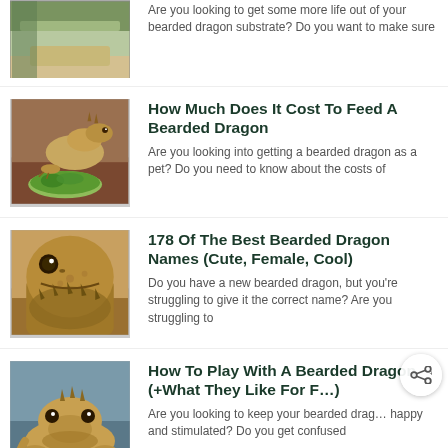[Figure (photo): Partial view of bearded dragon substrate/enclosure photo (top cropped)]
Are you looking to get some more life out of your bearded dragon substrate? Do you want to make sure
[Figure (photo): Photo of a bearded dragon with a bowl of green leafy vegetables]
How Much Does It Cost To Feed A Bearded Dragon
Are you looking into getting a bearded dragon as a pet? Do you need to know about the costs of
[Figure (photo): Close-up photo of a bearded dragon's face with open mouth]
178 Of The Best Bearded Dragon Names (Cute, Female, Cool)
Do you have a new bearded dragon, but you're struggling to give it the correct name? Are you struggling to
[Figure (photo): Photo of a bearded dragon on a surface, looking forward]
How To Play With A Bearded Dragon (+What They Like For F…)
Are you looking to keep your bearded drag… happy and stimulated? Do you get confused